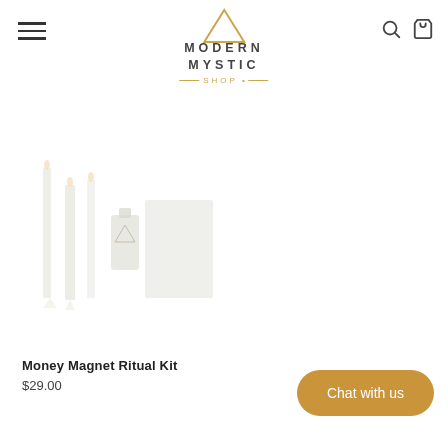Modern Mystic Shop
[Figure (photo): Product image of Money Magnet Ritual Kit showing candles, a small bottle of oil, and a card on a white background]
Money Magnet Ritual Kit
$29.00
Chat with us